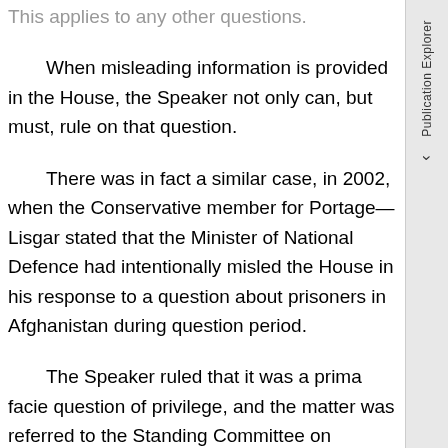This applies to any other questions.
When misleading information is provided in the House, the Speaker not only can, but must, rule on that question.
There was in fact a similar case, in 2002, when the Conservative member for Portage—Lisgar stated that the Minister of National Defence had intentionally misled the House in his response to a question about prisoners in Afghanistan during question period.
The Speaker ruled that it was a prima facie question of privilege, and the matter was referred to the Standing Committee on Procedure and House Affairs.
Furthermore, I would remind the House that question period is one of the only times when the Prime Minister